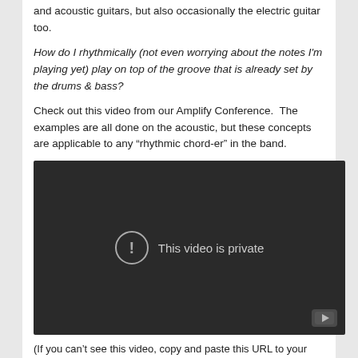and acoustic guitars, but also occasionally the electric guitar too.
How do I rhythmically (not even worrying about the notes I'm playing yet) play on top of the groove that is already set by the drums & bass?
Check out this video from our Amplify Conference.  The examples are all done on the acoustic, but these concepts are applicable to any “rhythmic chord-er” in the band.
[Figure (screenshot): Embedded YouTube video showing 'This video is private' message with exclamation icon on dark background and YouTube logo in bottom right corner.]
(If you can’t see this video, copy and paste this URL to your